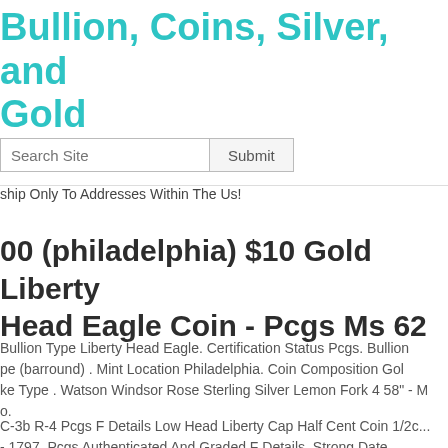Bullion, Coins, Silver, and Gold
Search Site  Submit
ship Only To Addresses Within The Us!
00 (philadelphia) $10 Gold Liberty Head Eagle Coin - Pcgs Ms 62
Bullion Type Liberty Head Eagle. Certification Status Pcgs. Bullion pe (barround) . Mint Location Philadelphia. Coin Composition Gol ke Type . Watson Windsor Rose Sterling Silver Lemon Fork 4 58" - M o.
C-3b R-4 Pcgs F Details Low Head Liberty Cap Half Cent Coin 1/2c - 1797. Pcgs Authenticated And Graded F Details. Strong Date.